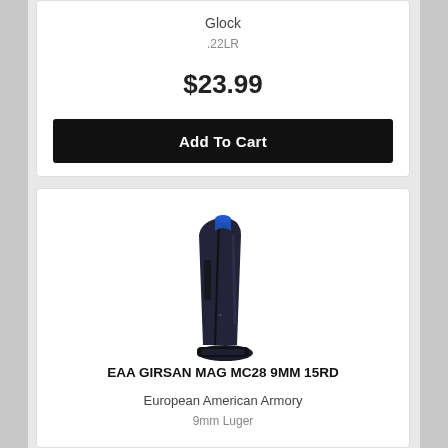Glock
.22LR
$23.99
Add To Cart
[Figure (photo): A black pistol magazine with blue follower, standing upright at a slight angle — EAA Girsan MAG MC28 9MM 15RD]
EAA GIRSAN MAG MC28 9MM 15RD
European American Armory
9mm Luger